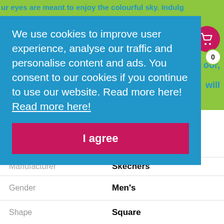[Figure (screenshot): Website header with green background, partial text 'ur eyes are meant to enjoy the colourful sky. Indulg', and a pink shopping cart icon with badge showing 0]
We use cookies to improve user experience, analyse our traffic and personalise content and ads. You consent to our cookies if you continue to use our website. Read more here! Read more here!
I agree
|  |  |
| --- | --- |
| Manufacturer | Skechers |
| Gender | Men's |
| Shape | Square |
| Rim type | Full rim |
| Color | Tortoise |
| Material | Plastic |
| Lens width (mm) | 55 |